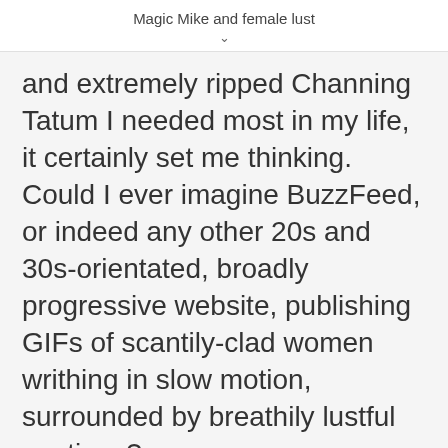Magic Mike and female lust
and extremely ripped Channing Tatum I needed most in my life, it certainly set me thinking. Could I ever imagine BuzzFeed, or indeed any other 20s and 30s-orientated, broadly progressive website, publishing GIFs of scantily-clad women writhing in slow motion, surrounded by breathily lustful captions?
Hopefully not. In fact, I would guess that BuzzFeed and similar publications would outright condemn that kind of laddish perviness. And I can’t stress enough just how OK I am with that. But it is an